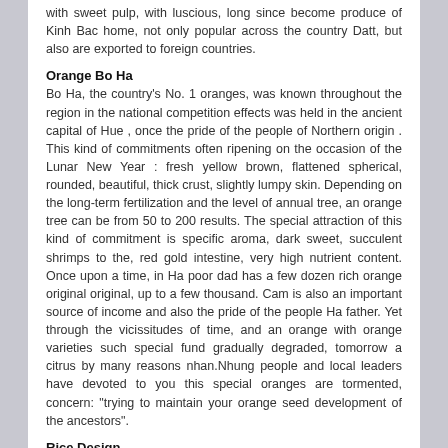with sweet pulp, with luscious, long since become produce of Kinh Bac home, not only popular across the country Datt, but also are exported to foreign countries.
Orange Bo Ha
Bo Ha, the country's No. 1 oranges, was known throughout the region in the national competition effects was held in the ancient capital of Hue , once the pride of the people of Northern origin . This kind of commitments often ripening on the occasion of the Lunar New Year : fresh yellow brown, flattened spherical, rounded, beautiful, thick crust, slightly lumpy skin. Depending on the long-term fertilization and the level of annual tree, an orange tree can be from 50 to 200 results. The special attraction of this kind of commitment is specific aroma, dark sweet, succulent shrimps to the, red gold intestine, very high nutrient content. Once upon a time, in Ha poor dad has a few dozen rich orange original original, up to a few thousand. Cam is also an important source of income and also the pride of the people Ha father. Yet through the vicissitudes of time, and an orange with orange varieties such special fund gradually degraded, tomorrow a citrus by many reasons nhan.Nhung people and local leaders have devoted to you this special oranges are tormented, concern: "trying to maintain your orange seed development of the ancestors".
Rice Design
Next pancake comes from the traditional village pancake